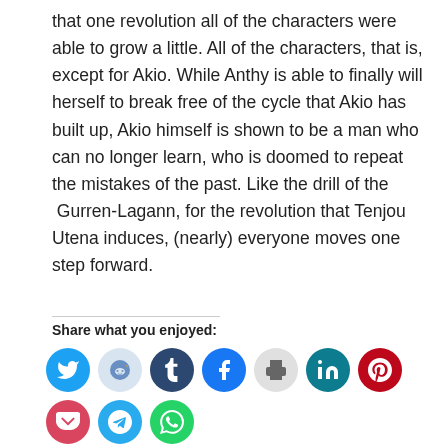that one revolution all of the characters were able to grow a little. All of the characters, that is, except for Akio. While Anthy is able to finally will herself to break free of the cycle that Akio has built up, Akio himself is shown to be a man who can no longer learn, who is doomed to repeat the mistakes of the past. Like the drill of the  Gurren-Lagann, for the revolution that Tenjou Utena induces, (nearly) everyone moves one step forward.
Share what you enjoyed:
[Figure (infographic): Social media sharing icons in circles: Twitter (blue), Reddit (light blue-gray), Tumblr (dark navy), Facebook (blue), Print (light gray), LinkedIn (teal), Pinterest (red), Pocket (pink-red), Telegram (blue), WhatsApp (green)]